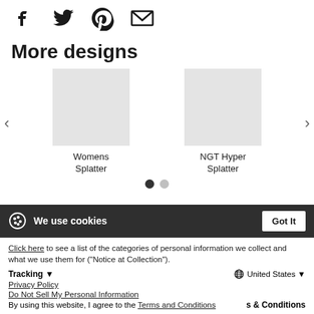[Figure (illustration): Row of social sharing icons: Facebook (f), Twitter (bird), Pinterest (P), and email (envelope), all in dark/black on white background.]
More designs
[Figure (other): Carousel section showing two product thumbnails with labels: 'Womens Splatter' and 'NGT Hyper Splatter', with left/right navigation arrows and two pagination dots below.]
Click here to see a list of the categories of personal information we collect and what we use them for ("Notice at Collection").
Tracking
United States
Privacy Policy
Do Not Sell My Personal Information
By using this website, I agree to the Terms and Conditions